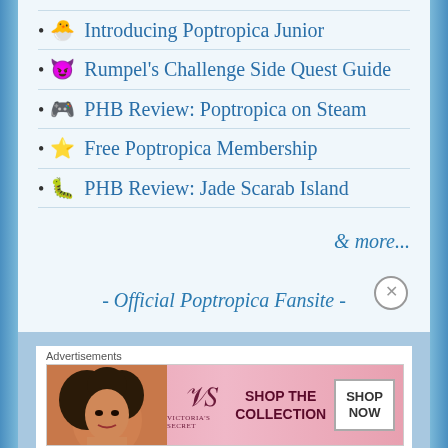🐣 Introducing Poptropica Junior
😈 Rumpel's Challenge Side Quest Guide
🎮 PHB Review: Poptropica on Steam
⭐ Free Poptropica Membership
🐛 PHB Review: Jade Scarab Island
& more...
- Official Poptropica Fansite -
[Figure (illustration): Yellow cartoon hat illustration against blue background]
Advertisements
[Figure (photo): Victoria's Secret advertisement banner with woman model, VS logo, 'SHOP THE COLLECTION' text, and 'SHOP NOW' button]